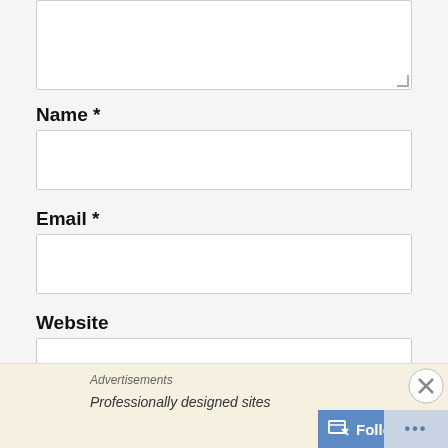[Figure (screenshot): Partial textarea (top of comment box) with resize handle in bottom-right corner]
Name *
[Figure (screenshot): Empty text input box for Name field]
Email *
[Figure (screenshot): Empty text input box for Email field]
Website
[Figure (screenshot): Partially visible empty text input box for Website field]
Advertisements
Professionally designed sites
Follow